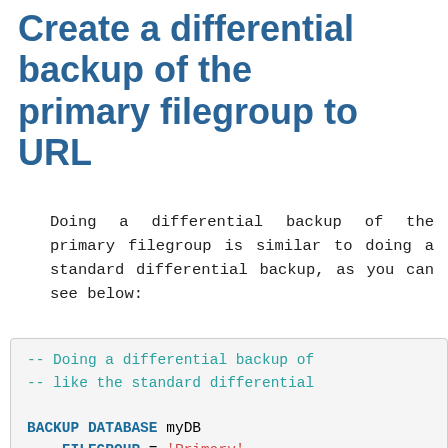Create a differential backup of the primary filegroup to URL
Doing a differential backup of the primary filegroup is similar to doing a standard differential backup, as you can see below:
[Figure (screenshot): Code block showing SQL BACKUP DATABASE command with FILEGROUP = 'Primary', TO URL = 'https://myAccount.bl', WITH keywords. Comments in teal: '-- Doing a differential backup of' and '-- like the standard differential']